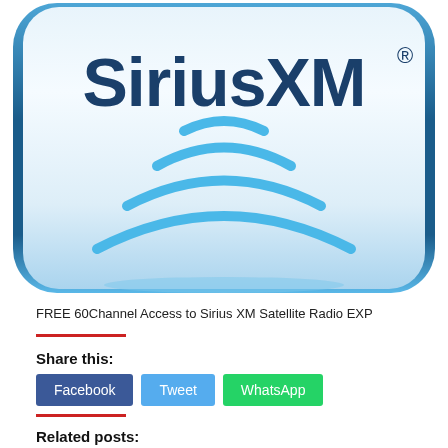[Figure (logo): SiriusXM logo: rounded rectangle with blue gradient border, white/silver background, dark blue SiriusXM text with registered trademark symbol, blue WiFi/satellite signal arc waves below]
FREE 60Channel Access to Sirius XM Satellite Radio EXP
Share this:
Facebook  Tweet  WhatsApp
Related posts: